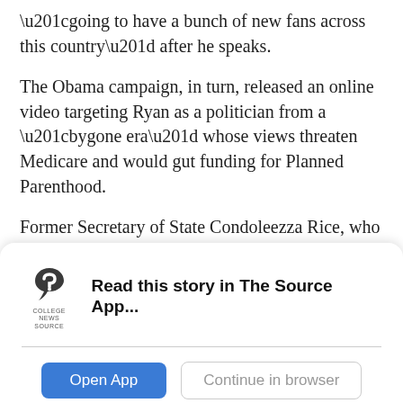“going to have a bunch of new fans across this country” after he speaks.
The Obama campaign, in turn, released an online video targeting Ryan as a politician from a “bygone era” whose views threaten Medicare and would gut funding for Planned Parenthood.
Former Secretary of State Condoleezza Rice, who also addresses the convention Wednesday night, took aim at Obama on foreign affairs, saying the voice of the United States in world affairs “has been muted” under this president, creating a chaotic and dangerous security
[Figure (logo): College News Source app logo - stylized 'S' mark in dark gray with text 'COLLEGE NEWS SOURCE' below]
Read this story in The Source App...
Open App
Continue in browser